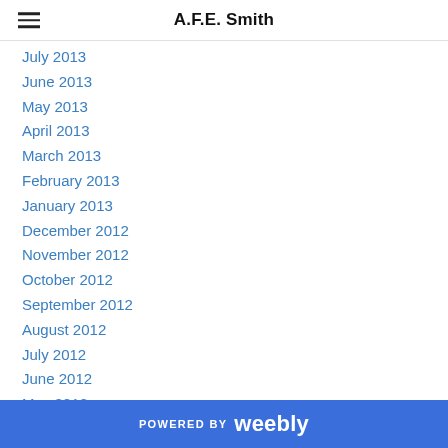A.F.E. Smith
July 2013
June 2013
May 2013
April 2013
March 2013
February 2013
January 2013
December 2012
November 2012
October 2012
September 2012
August 2012
July 2012
June 2012
May 2012
April 2012
POWERED BY weebly